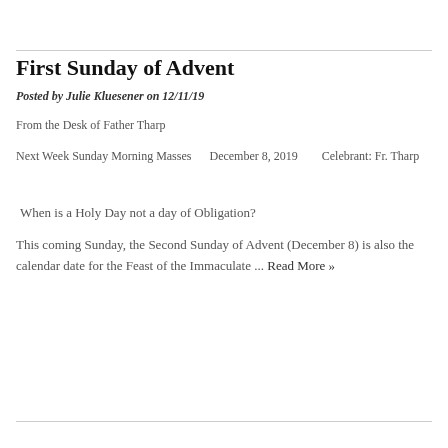First Sunday of Advent
Posted by Julie Kluesener on 12/11/19
From the Desk of Father Tharp
Next Week Sunday Morning Masses      December 8, 2019        Celebrant: Fr. Tharp
When is a Holy Day not a day of Obligation?
This coming Sunday, the Second Sunday of Advent (December 8) is also the calendar date for the Feast of the Immaculate ... Read More »